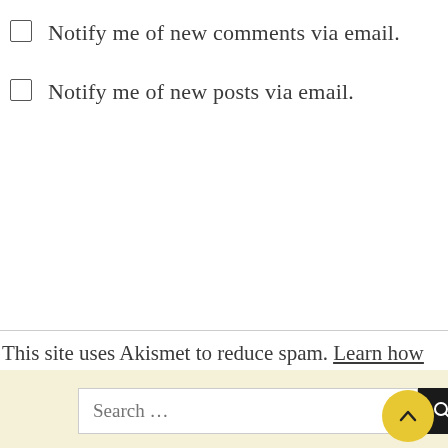Notify me of new comments via email.
Notify me of new posts via email.
This site uses Akismet to reduce spam. Learn how your comment data is processed.